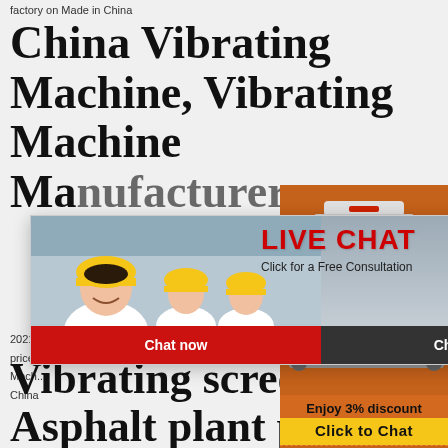factory on Made in China
China Vibrating Machine, Vibrating Machine Manufacturers...
2021
price
Mach...
China
[Figure (screenshot): Live chat popup overlay with workers in yellow helmets photo, LIVE CHAT headline in red, 'Click for a Free Consultation' subtitle, 'Chat now' red button and 'Chat later' dark button]
[Figure (illustration): Orange sidebar showing machinery equipment images, 'Enjoy 3% discount' text, 'Click to Chat' yellow button, 'Enquiry' button, and email limingjlmofen@sina.com]
Vibrating screen - Asphalt plant par... ZOOMLINE